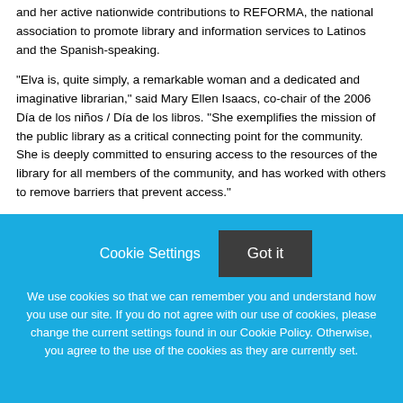and her active nationwide contributions to REFORMA, the national association to promote library and information services to Latinos and the Spanish-speaking.
"Elva is, quite simply, a remarkable woman and a dedicated and imaginative librarian," said Mary Ellen Isaacs, co-chair of the 2006 Día de los niños / Día de los libros. "She exemplifies the mission of the public library as a critical connecting point for the community. She is deeply committed to ensuring access to the resources of the library for all members of the community, and has worked with others to remove barriers that prevent access."
The award will be presented at the REFORMA Fundraiser on Sunday, June 25, 2006 at the American Library Association (ALA)
Cookie Settings   Got it
We use cookies so that we can remember you and understand how you use our site. If you do not agree with our use of cookies, please change the current settings found in our Cookie Policy. Otherwise, you agree to the use of the cookies as they are currently set.